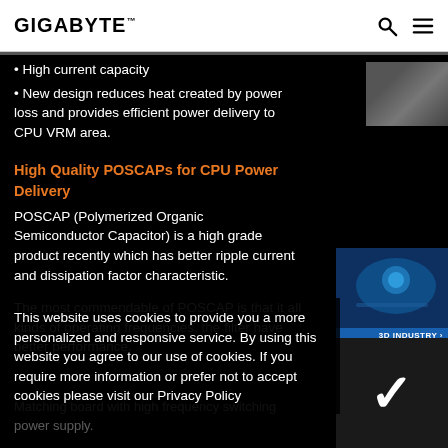GIGABYTE
High current capacity
New design reduces heat created by power loss and provides efficient power delivery to CPU VRM area.
High Quality POSCAPs for CPU Power Delivery
POSCAP (Polymerized Organic Semiconductor Capacitor) is a high grade product recently which has better ripple current and dissipation factor characteristic.
The most commendable of POSCAP is that it all kinds of operating frequencies, the filter have better performance. Matching board with high frequency switching power supply.
This website uses cookies to provide you a more personalized and responsive service. By using this website you agree to our use of cookies. If you require more information or prefer not to accept cookies please visit our Privacy Policy
[Figure (photo): Thumbnail photo top right]
[Figure (photo): 3D INDUSTRY panel with circuit board image]
[Figure (illustration): Checkmark icon panel]